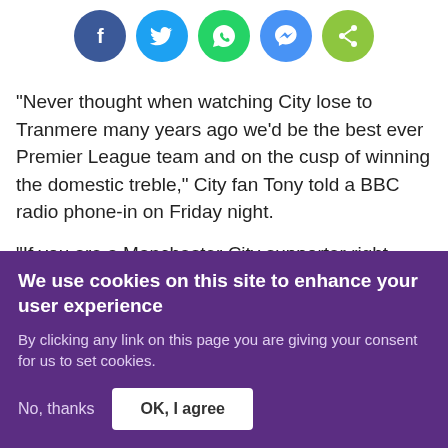[Figure (infographic): Row of 5 social sharing icon buttons: Facebook (dark blue circle), Twitter (light blue circle), WhatsApp (green circle), Messenger (blue circle), Share (lime green circle)]
"Never thought when watching City lose to Tranmere many years ago we'd be the best ever Premier League team and on the cusp of winning the domestic treble," City fan Tony told a BBC radio phone-in on Friday night.
"If you are a Manchester City supporter right now, you are living the absolute dream."
We use cookies on this site to enhance your user experience
By clicking any link on this page you are giving your consent for us to set cookies.
No, thanks  OK, I agree